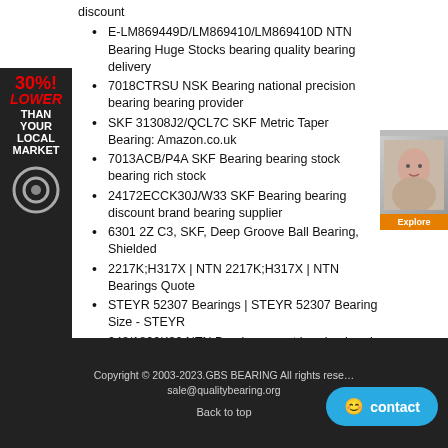discount
E-LM869449D/LM869410/LM869410D NTN Bearing Huge Stocks bearing quality bearing delivery
7018CTRSU NSK Bearing national precision bearing bearing provider
SKF 31308J2/QCL7C SKF Metric Taper Bearing: Amazon.co.uk
7013ACB/P4A SKF Bearing bearing stock bearing rich stock
24172ECCK30J/W33 SKF Bearing bearing discount brand bearing supplier
6301 2Z C3, SKF, Deep Groove Ball Bearing, Shielded
2217K;H317X | NTN 2217K;H317X | NTN Bearings Quote
STEYR 52307 Bearings | STEYR 52307 Bearing Size - STEYR
248/1800K30 NTN Bearing expert bearing bearing provider
W6002-2RS1/VP311 SKF Bearing world class bearing quality bearing delivery
W61800-2Z SKF Bearing best bearing manufacturer get bearing price
D/WSRI-1212-2ZS SKF Bearing fast shipping bearing bearing home
NTN FL626Z Bearing Global supply | Deep groove ball
[Figure (advertisement): 30% LOWER THAN YOUR LOCAL MARKET ad banner with bearing icon]
[Figure (advertisement): Right side ad banner with face image and button]
Copyright © 2003-2023.GBS BEARING All rights reserved sale@qualitybearing.org Back to top